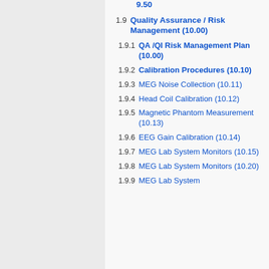9.50
1.9   Quality Assurance / Risk Management (10.00)
1.9.1   QA /QI Risk Management Plan (10.00)
1.9.2   Calibration Procedures (10.10)
1.9.3   MEG Noise Collection (10.11)
1.9.4   Head Coil Calibration (10.12)
1.9.5   Magnetic Phantom Measurement (10.13)
1.9.6   EEG Gain Calibration (10.14)
1.9.7   MEG Lab System Monitors (10.15)
1.9.8   MEG Lab System Monitors (10.20)
1.9.9   MEG Lab System